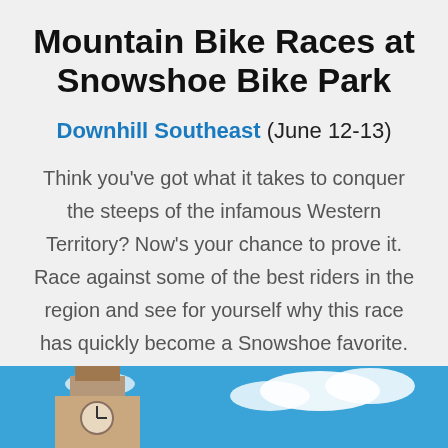Mountain Bike Races at Snowshoe Bike Park
Downhill Southeast (June 12-13)
Think you've got what it takes to conquer the steeps of the infamous Western Territory? Now's your chance to prove it. Race against some of the best riders in the region and see for yourself why this race has quickly become a Snowshoe favorite.
[Figure (photo): Photo of a clock tower building against a bright blue sky with white clouds, bottom portion of the page]